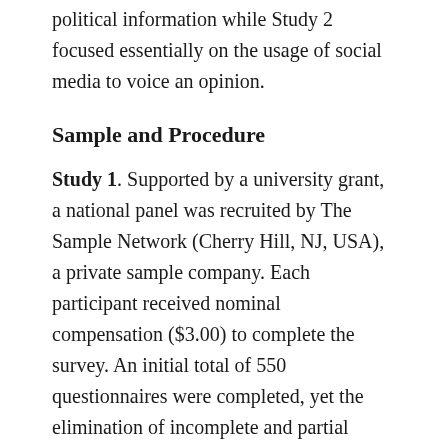political information while Study 2 focused essentially on the usage of social media to voice an opinion.
Sample and Procedure
Study 1. Supported by a university grant, a national panel was recruited by The Sample Network (Cherry Hill, NJ, USA), a private sample company. Each participant received nominal compensation ($3.00) to complete the survey. An initial total of 550 questionnaires were completed, yet the elimination of incomplete and partial responses reduced the sample size to 487. The pool of respondents, representative of